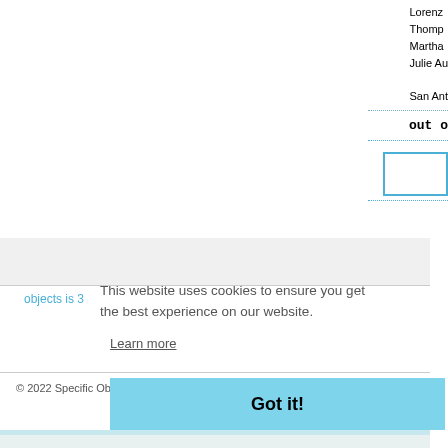Lorenz
Thomp
Martha
Julie Au
San Ant
out o
objects is 3
This website uses cookies to ensure you get the best experience on our website.
Learn more
© 2022 Specific Object | David Platzker
Got it!